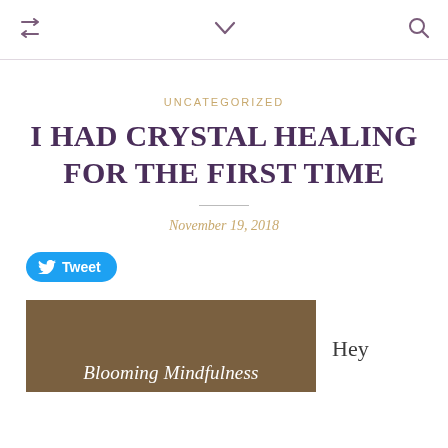retweet icon | chevron down | search icon
UNCATEGORIZED
I HAD CRYSTAL HEALING FOR THE FIRST TIME
November 19, 2018
Tweet
[Figure (photo): Blog header image with brown/olive background showing 'Blooming Mindfulness' text in italic white script]
Hey